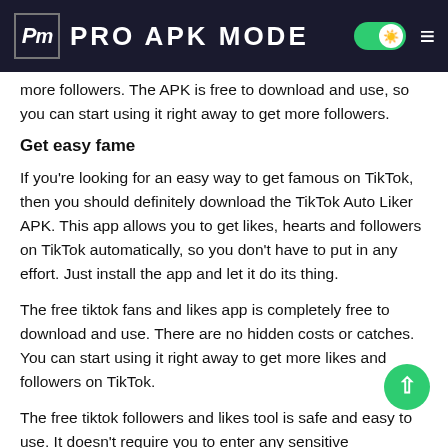PRO APK MODE
more followers. The APK is free to download and use, so you can start using it right away to get more followers.
Get easy fame
If you're looking for an easy way to get famous on TikTok, then you should definitely download the TikTok Auto Liker APK. This app allows you to get likes, hearts and followers on TikTok automatically, so you don't have to put in any effort. Just install the app and let it do its thing.
The free tiktok fans and likes app is completely free to download and use. There are no hidden costs or catches. You can start using it right away to get more likes and followers on TikTok.
The free tiktok followers and likes tool is safe and easy to use. It doesn't require you to enter any sensitive information or login